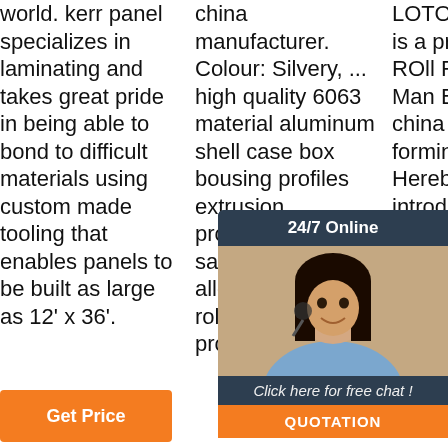world. kerr panel specializes in laminating and takes great pride in being able to bond to difficult materials using custom made tooling that enables panels to be built as large as 12' x 36'.
china manufacturer. Colour: Silvery, ... high quality 6063 material aluminum shell case box bousing profiles extrusion. ... production and sales of aluminum alloy profiles for roller shutter door profile, also paint,
LOTOSFORMING is a professional ROll FOrming MAc Man Best 2021 china LOT prod type forming system. Hereby, we may introduce some
[Figure (other): Chat widget overlay showing a customer service representative photo, '24/7 Online' header, 'Click here for free chat!' message, and a QUOTATION button]
[Figure (other): TOP navigation button with orange dots/arrows and bold orange TOP text]